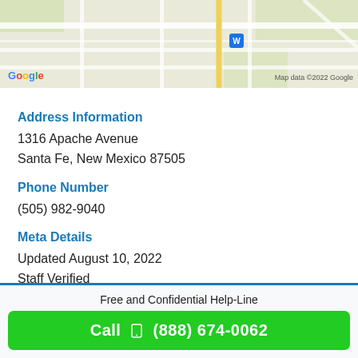[Figure (map): Google Maps screenshot showing a street map with a blue marker, Google logo at bottom left, and 'Map data ©2022 Google' credit at bottom right.]
Address Information
1316 Apache Avenue
Santa Fe, New Mexico 87505
Phone Number
(505) 982-9040
Meta Details
Updated August 10, 2022
Staff Verified
Claim Center
Free and Confidential Help-Line
Call  (888) 674-0062